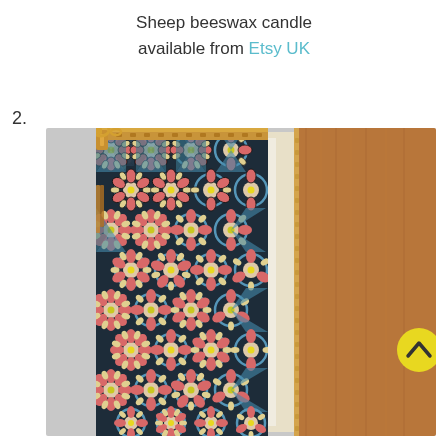Sheep beeswax candle available from Etsy UK
2.
[Figure (photo): Close-up photo of a patterned cork wallet/purse with a gold zipper and tassel. The wallet features a mosaic-style floral pattern with pink, blue, yellow and cream colors on a dark background. The right side shows the cork texture in brown tones.]